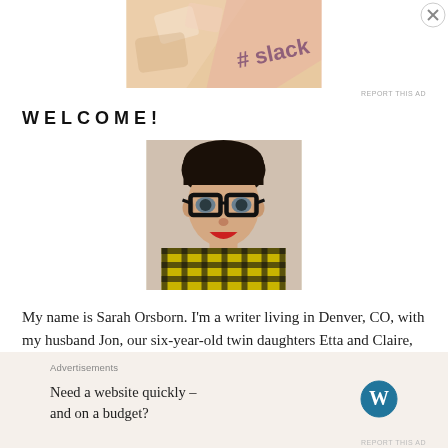[Figure (other): Slack advertisement banner with pink and tan geometric background and Slack hashtag logo]
REPORT THIS AD
WELCOME!
[Figure (photo): Portrait photo of Sarah Orsborn, a woman with short dark hair, large black-rimmed glasses, red lipstick, and a yellow and black plaid scarf]
My name is Sarah Orsborn. I'm a writer living in Denver, CO, with my husband Jon, our six-year-old twin daughters Etta and Claire, who has Spina Bifida, our two dogs Olive and Bessie, and one not-so-Tinycat.
Advertisements
Need a website quickly – and on a budget?
REPORT THIS AD